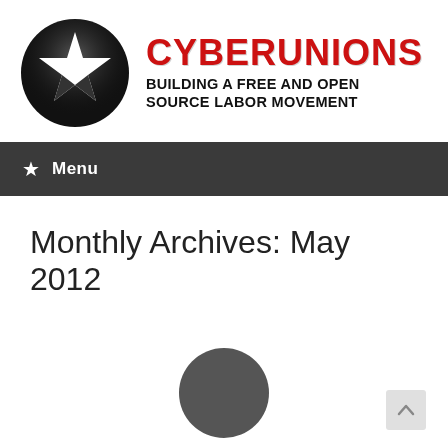[Figure (logo): Cyberunions logo: black circle with white star, next to red distressed text 'Cyberunions' and bold black text 'Building a Free and Open Source Labor Movement']
Menu
Monthly Archives: May 2012
[Figure (illustration): Dark grey circle graphic, partially visible at bottom of page]
[Figure (illustration): Scroll-to-top button with upward arrow, grey square, bottom right corner]